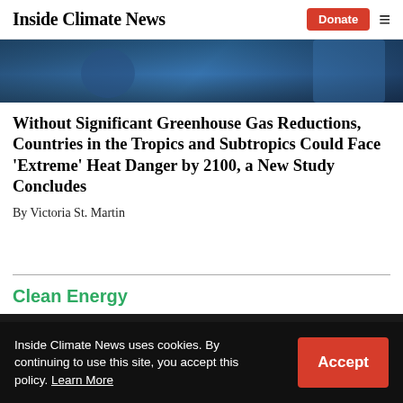Inside Climate News
[Figure (photo): Partial view of a person in blue clothing, dark moody background]
Without Significant Greenhouse Gas Reductions, Countries in the Tropics and Subtropics Could Face ‘Extreme’ Heat Danger by 2100, a New Study Concludes
By Victoria St. Martin
Clean Energy
Inside Climate News uses cookies. By continuing to use this site, you accept this policy. Learn More